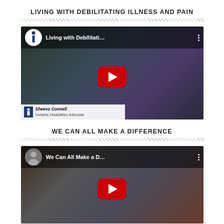LIVING WITH DEBILITATING ILLNESS AND PAIN
[Figure (screenshot): YouTube video thumbnail for 'Living with Debilitati...' showing a woman being interviewed, with a play button overlay and name bar reading 'Sheeva Connell, Invisible Disabilities Advocate']
WE CAN ALL MAKE A DIFFERENCE
[Figure (screenshot): YouTube video thumbnail for 'We Can All Make a D...' showing people at an event, with a play button overlay]